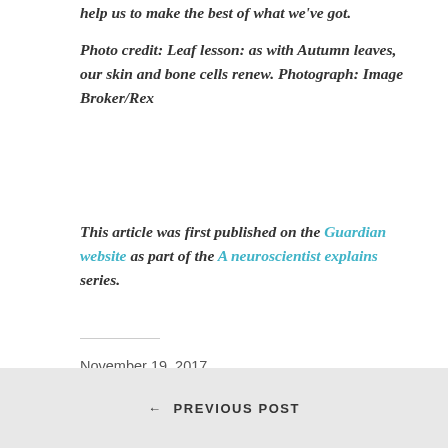help us to make the best of what we've got.
Photo credit: Leaf lesson: as with Autumn leaves, our skin and bone cells renew. Photograph: Image Broker/Rex
This article was first published on the Guardian website as part of the A neuroscientist explains series.
November 19, 2017
In A Neuroscientist Explains: Guardian Columns, Uncategorized
← PREVIOUS POST